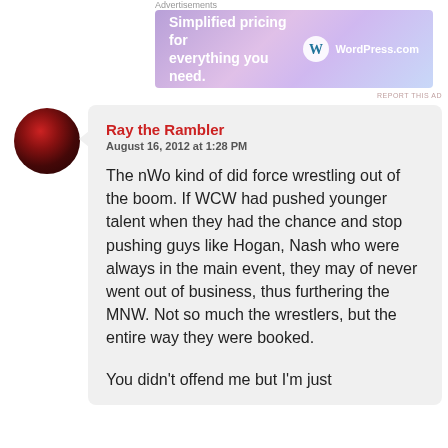Advertisements
[Figure (other): WordPress.com advertisement banner with gradient purple/pink background. Text: 'Simplified pricing for everything you need.' with WordPress.com logo on right.]
[Figure (photo): Circular avatar photo showing a dark reddish image, appears to be a person or character in dark red tones]
Ray the Rambler
August 16, 2012 at 1:28 PM

The nWo kind of did force wrestling out of the boom. If WCW had pushed younger talent when they had the chance and stop pushing guys like Hogan, Nash who were always in the main event, they may of never went out of business, thus furthering the MNW. Not so much the wrestlers, but the entire way they were booked.

You didn't offend me but I'm just